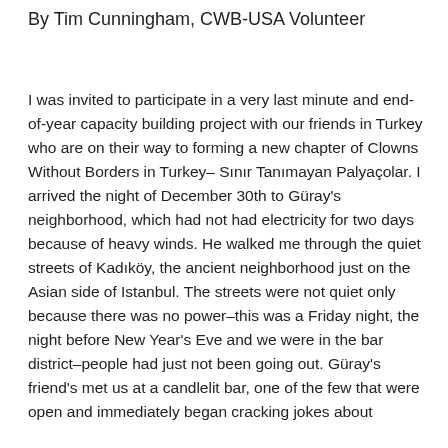By Tim Cunningham, CWB-USA Volunteer
I was invited to participate in a very last minute and end-of-year capacity building project with our friends in Turkey who are on their way to forming a new chapter of Clowns Without Borders in Turkey– Sınır Tanımayan Palyaçolar. I arrived the night of December 30th to Güray's neighborhood, which had not had electricity for two days because of heavy winds. He walked me through the quiet streets of Kadıköy, the ancient neighborhood just on the Asian side of Istanbul. The streets were not quiet only because there was no power–this was a Friday night, the night before New Year's Eve and we were in the bar district–people had just not been going out. Güray's friend's met us at a candlelit bar, one of the few that were open and immediately began cracking jokes about